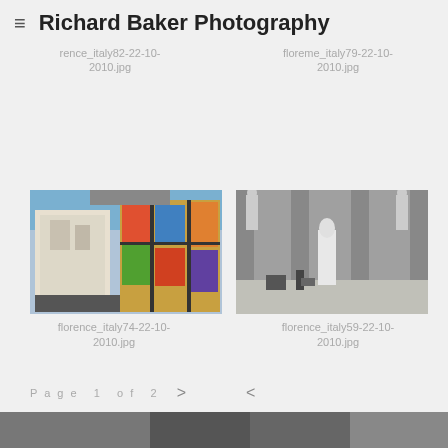≡ Richard Baker Photography
[Figure (photo): Partial top photo left - florence_italy82-22-10-2010.jpg]
rence_italy82-22-10-2010.jpg
[Figure (photo): Partial top photo right - florence_italy79-22-10-2010.jpg]
floreme_italy79-22-10-2010.jpg
[Figure (photo): Florence Italy photo showing cathedral and postcard stand - florence_italy74-22-10-2010.jpg]
florence_italy74-22-10-2010.jpg
[Figure (photo): Florence Italy photo showing classical arcade and statue - florence_italy59-22-10-2010.jpg]
florence_italy59-22-10-2010.jpg
Page 1 of 2
[Figure (photo): Partial bottom photo strip]